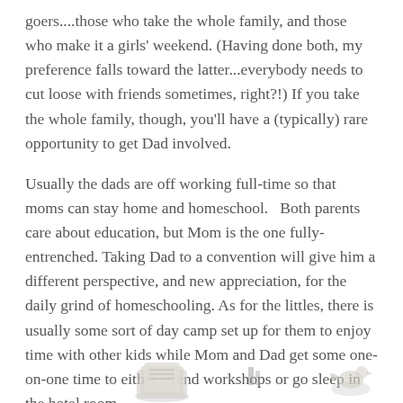goers....those who take the whole family, and those who make it a girls' weekend. (Having done both, my preference falls toward the latter...everybody needs to cut loose with friends sometimes, right?!) If you take the whole family, though, you'll have a (typically) rare opportunity to get Dad involved.
Usually the dads are off working full-time so that moms can stay home and homeschool.   Both parents care about education, but Mom is the one fully-entrenched. Taking Dad to a convention will give him a different perspective, and new appreciation, for the daily grind of homeschooling. As for the littles, there is usually some sort of day camp set up for them to enjoy time with other kids while Mom and Dad get some one-on-one time to either attend workshops or go sleep in the hotel room...
[Figure (illustration): Partial illustration showing decorative elements at the bottom of the page, including what appears to be rolled papers or scrolls and a bird or similar figure.]